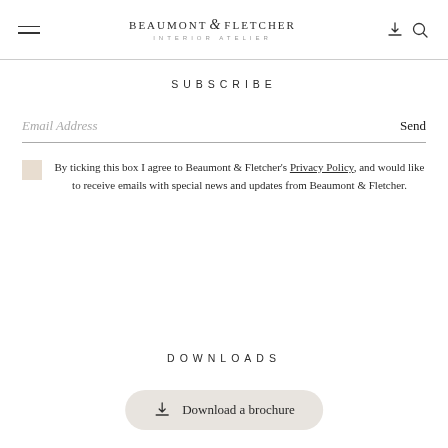BEAUMONT & FLETCHER INTERIOR ATELIER
SUBSCRIBE
Email Address
Send
By ticking this box I agree to Beaumont & Fletcher's Privacy Policy, and would like to receive emails with special news and updates from Beaumont & Fletcher.
DOWNLOADS
Download a brochure